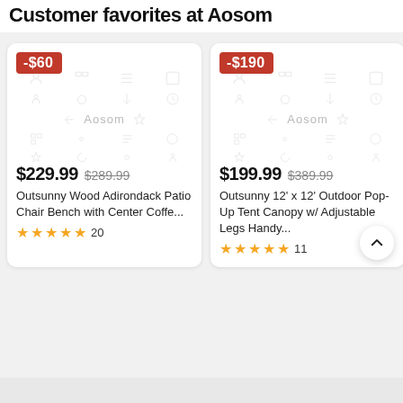Customer favorites at Aosom
[Figure (screenshot): Product card: -$60 discount badge, placeholder icons, Aosom watermark, price $229.99 (was $289.99), Outsunny Wood Adirondack Patio Chair Bench with Center Coffe..., 5 star rating, 20 reviews]
[Figure (screenshot): Product card: -$190 discount badge, placeholder icons, Aosom watermark, price $199.99 (was $389.99), Outsunny 12' x 12' Outdoor Pop-Up Tent Canopy w/ Adjustable Legs Handy..., 5 star rating, 11 reviews]
[Figure (screenshot): Partial third product card visible at right edge with red discount badge]